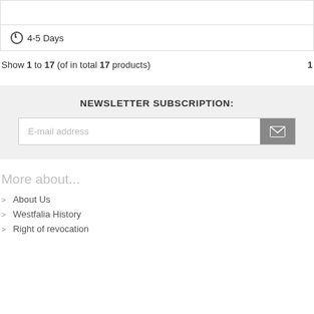⊙ 4-5 Days
Show 1 to 17 (of in total 17 products) 1
NEWSLETTER SUBSCRIPTION:
E-mail address
More about...
About Us
Westfalia History
Right of revocation